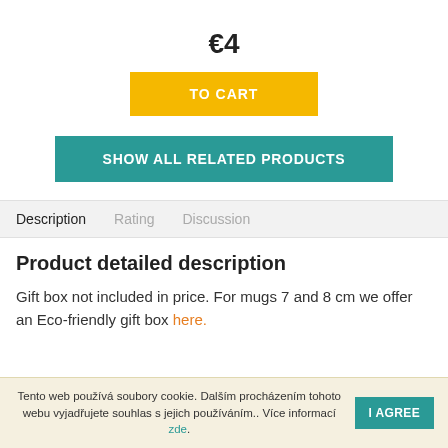€4
TO CART
SHOW ALL RELATED PRODUCTS
Description  Rating  Discussion
Product detailed description
Gift box not included in price. For mugs 7 and 8 cm we offer an Eco-friendly gift box here.
Tento web používá soubory cookie. Dalším procházením tohoto webu vyjadřujete souhlas s jejich používáním.. Více informací zde.  I AGREE